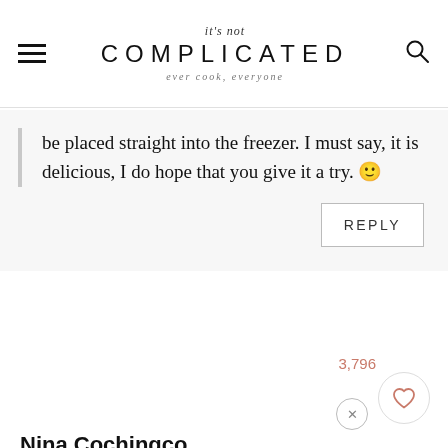it's not COMPLICATED ever cook, everyone
be placed straight into the freezer. I must say, it is delicious, I do hope that you give it a try. 🙂
REPLY
3,796
Nina Cochingco
April 15, 2019 at 10:48 am
Wow! This ice cream is so refreshing